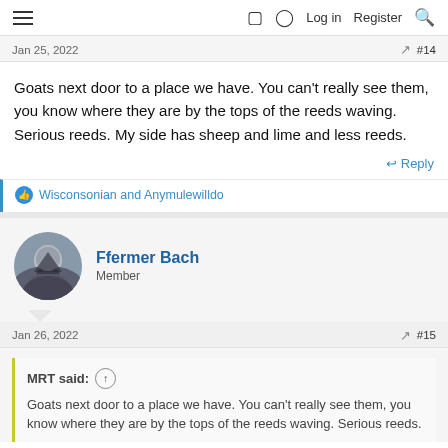≡  Log in  Register
Jan 25, 2022  #14
Goats next door to a place we have. You can't really see them, you know where they are by the tops of the reeds waving. Serious reeds. My side has sheep and lime and less reeds.
↩ Reply
👍 Wisconsonian and Anymulewilldo
Ffermer Bach
Member
Jan 26, 2022  #15
MRT said: ↑
Goats next door to a place we have. You can't really see them, you know where they are by the tops of the reeds waving. Serious reeds.